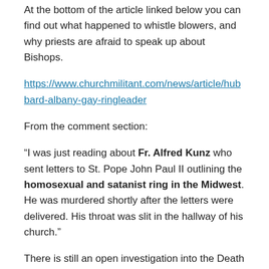At the bottom of the article linked below you can find out what happened to whistle blowers, and why priests are afraid to speak up about Bishops.
https://www.churchmilitant.com/news/article/hubbard-albany-gay-ringleader
From the comment section:
“I was just reading about Fr. Alfred Kunz who sent letters to St. Pope John Paul II outlining the homosexual and satanist ring in the Midwest. He was murdered shortly after the letters were delivered. His throat was slit in the hallway of his church.”
There is still an open investigation into the Death of Fr. Kunz.  Like many of those cases there was no sign of